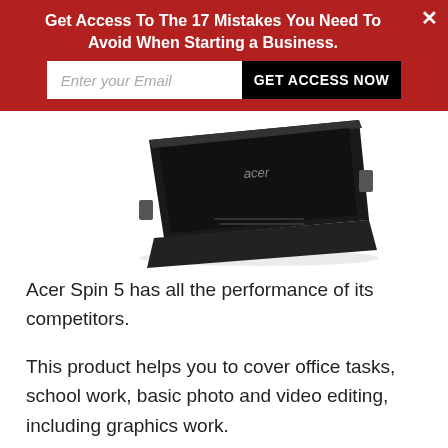[Figure (screenshot): Red banner advertisement overlay with headline 'Get Access To The 17 Mistakes You Need To Avoid When Starting a Business.' with an email input field and 'GET ACCESS NOW' button, plus a close X button]
[Figure (photo): Acer laptop (Acer Spin 5) shown from the rear/side angle, partially visible at top of page, black lid with Acer logo]
Acer Spin 5 has all the performance of its competitors.
This product helps you to cover office tasks, school work, basic photo and video editing,  including graphics work.
It surpassed similarly configured models'